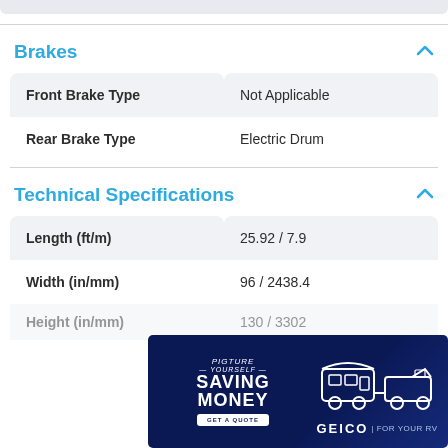Brakes
| Specification | Value |
| --- | --- |
| Front Brake Type | Not Applicable |
| Rear Brake Type | Electric Drum |
Technical Specifications
| Specification | Value |
| --- | --- |
| Length (ft/m) | 25.92 / 7.9 |
| Width (in/mm) | 96 / 2438.4 |
| Height (in/mm) | 130 / 3302 |
| Interior |  |
| Length |  |
[Figure (advertisement): GEICO RV insurance advertisement showing an RV being towed by a pickup truck. Text reads: PIGTURE YOURSELF SAVING MONEY with GET A QUOTE button and GEICO FOR YOUR RV tagline.]